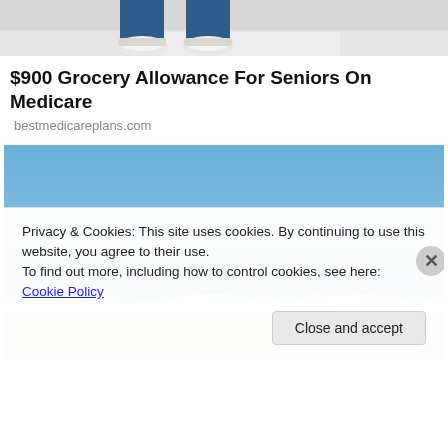[Figure (photo): Partial view of a person's legs/feet in jeans and white sneakers on a light floor]
$900 Grocery Allowance For Seniors On Medicare
bestmedicareplans.com
[Figure (photo): Ocean beach scene with waves, blue sky, and sandy shore]
Privacy & Cookies: This site uses cookies. By continuing to use this website, you agree to their use.
To find out more, including how to control cookies, see here: Cookie Policy
Close and accept